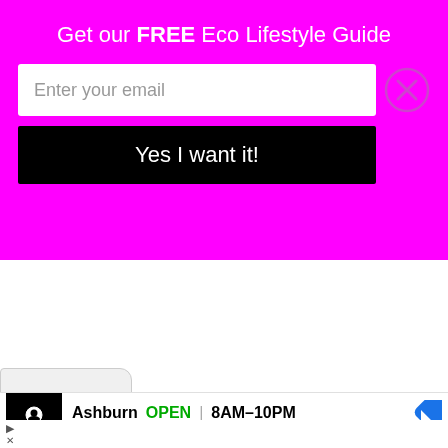Get our FREE Eco Lifestyle Guide
Enter your email
Yes I want it!
[Figure (screenshot): Dropdown/collapse tab with chevron down arrow]
[Figure (screenshot): Local business ad: Ashburn OPEN 8AM-10PM, 44110 Ashburn Shopping Plaza with navigation icon]